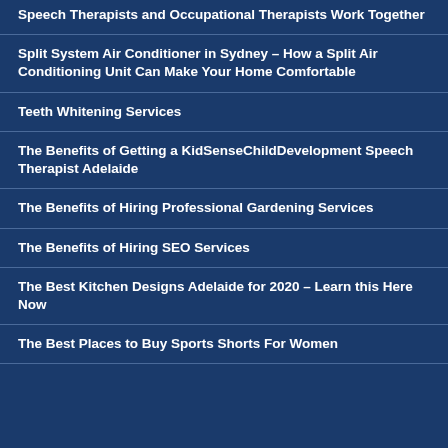Speech Therapists and Occupational Therapists Work Together
Split System Air Conditioner in Sydney – How a Split Air Conditioning Unit Can Make Your Home Comfortable
Teeth Whitening Services
The Benefits of Getting a KidSenseChildDevelopment Speech Therapist Adelaide
The Benefits of Hiring Professional Gardening Services
The Benefits of Hiring SEO Services
The Best Kitchen Designs Adelaide for 2020 – Learn this Here Now
The Best Places to Buy Sports Shorts For Women